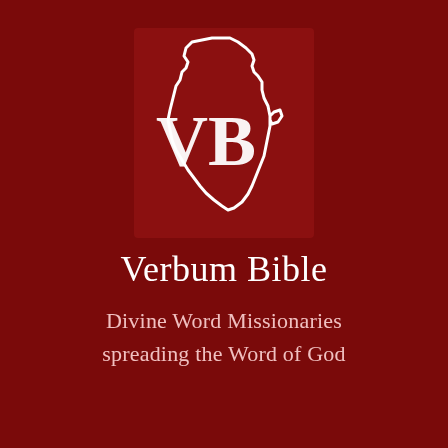[Figure (logo): Verbum Bible logo: white outline of the African continent with letters VB overlaid, on a dark red square background]
Verbum Bible
Divine Word Missionaries spreading the Word of God